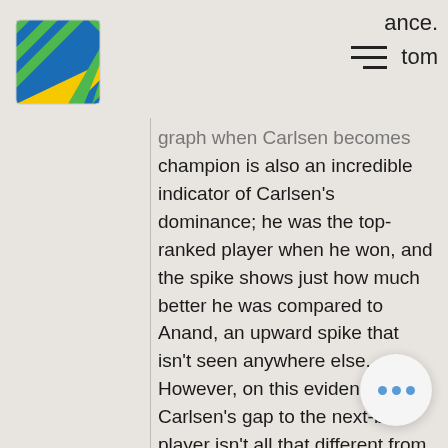[Figure (logo): Striped logo with yellow, blue and green diagonal stripes forming a square icon]
ance. tom
graph when Carlsen becomes champion is also an incredible indicator of Carlsen's dominance; he was the top-ranked player when he won, and the spike shows just how much better he was compared to Anand, an upward spike that isn't seen anywhere else. However, on this evidence, Carlsen's gap to the next-best player isn't all that different from Karpov and Kasparov, and his reign is similar to Karpov's, although Carlsen probably takes the edge since he has never lost the top ranking since he became champion (while Karpov Furthermore, the length of the re suggests that Carlsen is somewhere in